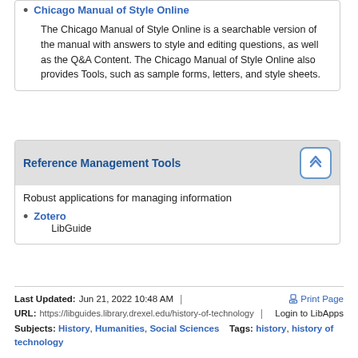Chicago Manual of Style Online — The Chicago Manual of Style Online is a searchable version of the manual with answers to style and editing questions, as well as the Q&A Content. The Chicago Manual of Style Online also provides Tools, such as sample forms, letters, and style sheets.
Reference Management Tools
Robust applications for managing information
Zotero — LibGuide
Last Updated: Jun 21, 2022 10:48 AM | URL: https://libguides.library.drexel.edu/history-of-technology | Print Page | Login to LibApps | Subjects: History, Humanities, Social Sciences | Tags: history, history of technology